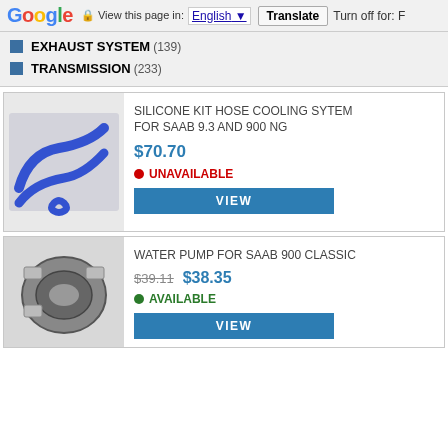Google  View this page in: English  Translate  Turn off for: F
EXHAUST SYSTEM (139)
TRANSMISSION (233)
SILICONE KIT HOSE COOLING SYTEM FOR SAAB 9.3 AND 900 NG
$70.70
UNAVAILABLE
[Figure (photo): Blue silicone hose kit for SAAB cooling system]
WATER PUMP FOR SAAB 900 CLASSIC
$39.11  $38.35
AVAILABLE
[Figure (photo): Water pump for SAAB 900 Classic]